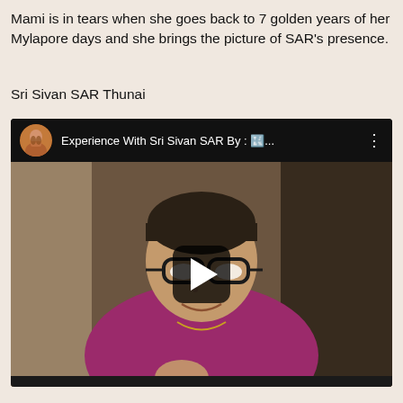Mami is in tears when she goes back to 7 golden years of her Mylapore days and she brings the picture of SAR's presence.
Sri Sivan SAR Thunai
[Figure (screenshot): YouTube video thumbnail showing an elderly woman wearing glasses and a magenta/pink saree, speaking to camera. The video title bar reads 'Experience With Sri Sivan SAR By : 🔣...' with a circular avatar of a bearded man and a three-dot menu. A play button is centered on the video.]